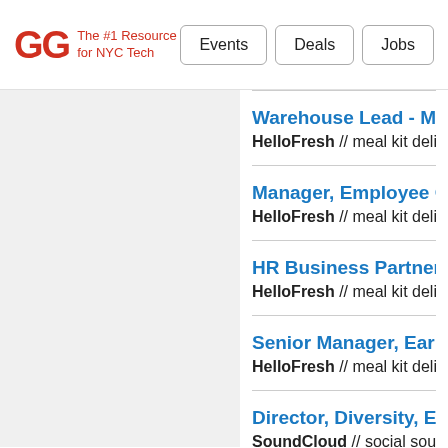GG The #1 Resource for NYC Tech | Events | Deals | Jobs
Warehouse Lead - Minn... | HelloFresh // meal kit delivery
Manager, Employee On... | HelloFresh // meal kit delivery
HR Business Partner | HelloFresh // meal kit delivery
Senior Manager, Earned... | HelloFresh // meal kit delivery
Director, Diversity, Equi... | SoundCloud // social sound p...
Director, A&R Admin...